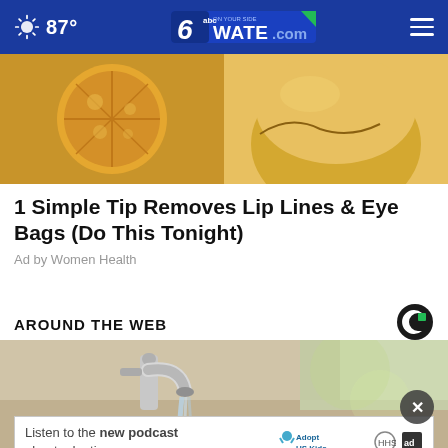87° WATE.com 6abc On Your Side
[Figure (photo): Close-up image of golden/yellow citrus slice and a golden eye mask or cream product on white background]
1 Simple Tip Removes Lip Lines & Eye Bags (Do This Tonight)
Ad by Women Health
AROUND THE WEB
[Figure (logo): Taboola logo - black circle with green square accent]
[Figure (photo): Chrome water faucet running water in a kitchen or bathroom setting]
[Figure (other): Close button X overlay on image]
[Figure (other): Podcast advertisement banner: Listen to the new podcast about adoption. Adopt US Kids logo. Ad label.]